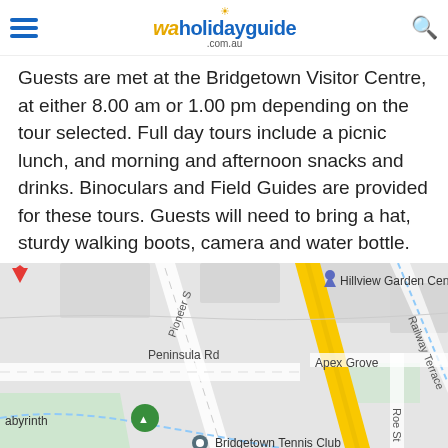waholidayguide.com.au
Guests are met at the Bridgetown Visitor Centre, at either 8.00 am or 1.00 pm depending on the tour selected. Full day tours include a picnic lunch, and morning and afternoon snacks and drinks. Binoculars and Field Guides are provided for these tours. Guests will need to bring a hat, sturdy walking boots, camera and water bottle. Half day tours do not include a picnic lunch.
[Figure (map): Street map showing Bridgetown area with Railway Terrace, Pioneer S, Peninsula Rd, Apex Grove, Roe St, Hillview Garden Centre marker, Bridgetown Tennis Club, and a labyrinth location with tree icon.]